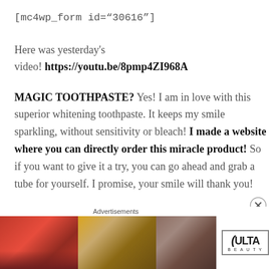[mc4wp_form id="30616"]
Here was yesterday's video! https://youtu.be/8pmp4ZI968A
MAGIC TOOTHPASTE? Yes! I am in love with this superior whitening toothpaste. It keeps my smile sparkling, without sensitivity or bleach! I made a website where you can directly order this miracle product! So if you want to give it a try, you can go ahead and grab a tube for yourself. I promise, your smile will thank you!
[Figure (advertisement): Ulta Beauty advertisement banner with makeup imagery including lips, brush, eye, and eyes with logo and 'SHOP NOW' text]